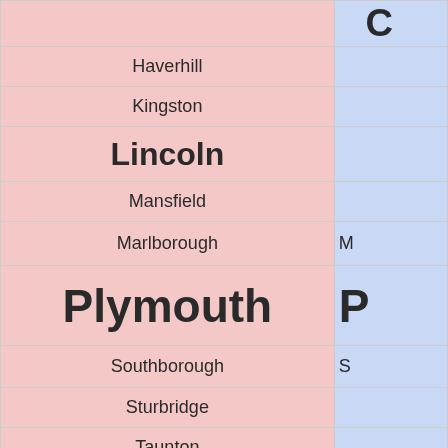| City | County |
| --- | --- |
|  |  |
| Haverhill |  |
| Kingston |  |
| Lincoln |  |
| Mansfield |  |
| Marlborough | M... |
| Plymouth | P... |
| Southborough | S... |
| Sturbridge |  |
| Taunton |  |
| Tewksbury | ... |
| Truro |  |